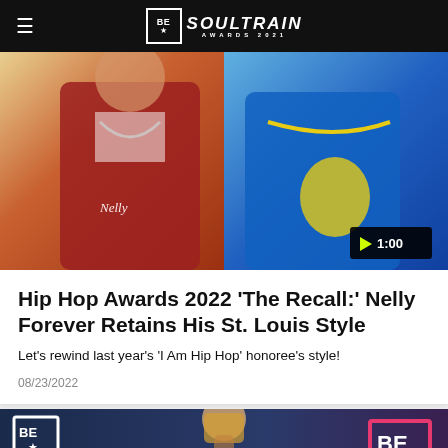BET Soul Train Awards 2021
[Figure (photo): Two men side by side, one on left wearing red jacket with 'Nelly' script and jewelry, one on right in blue shirt with gold chain. Video play button badge showing 1:00 in bottom right corner.]
Hip Hop Awards 2022 'The Recall:' Nelly Forever Retains His St. Louis Style
Let's rewind last year's 'I Am Hip Hop' honoree's style!
08/23/2022
[Figure (photo): Woman with blonde hair on a dark blue BET Awards red carpet with BET Awards logo on the left and pink BE logo box on the right.]